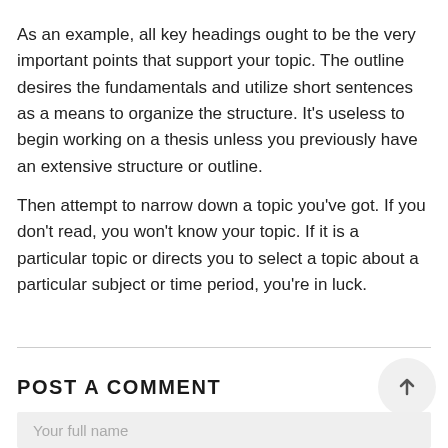As an example, all key headings ought to be the very important points that support your topic. The outline desires the fundamentals and utilize short sentences as a means to organize the structure. It's useless to begin working on a thesis unless you previously have an extensive structure or outline.
Then attempt to narrow down a topic you've got. If you don't read, you won't know your topic. If it is a particular topic or directs you to select a topic about a particular subject or time period, you're in luck.
POST A COMMENT